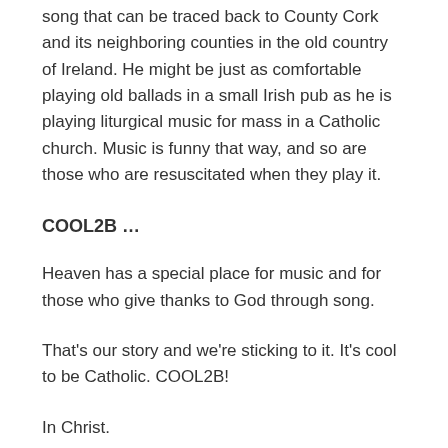song that can be traced back to County Cork and its neighboring counties in the old country of Ireland. He might be just as comfortable playing old ballads in a small Irish pub as he is playing liturgical music for mass in a Catholic church. Music is funny that way, and so are those who are resuscitated when they play it.
COOL2B …
Heaven has a special place for music and for those who give thanks to God through song.
That's our story and we're sticking to it. It's cool to be Catholic. COOL2B!
In Christ.